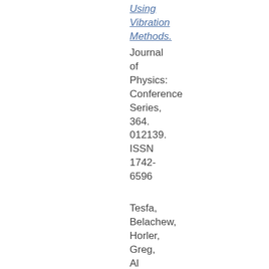Using Vibration Methods.
Journal of Physics: Conference Series, 364. 012139. ISSN 1742-6596
Tesfa, Belachew, Horler, Greg, Al Thobiani, Faisal,